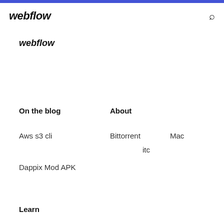webflow
webflow
On the blog
About
Aws s3 cli
Bittorrent
Mac
itc
Dappix Mod APK
Learn
PC     Google Pla